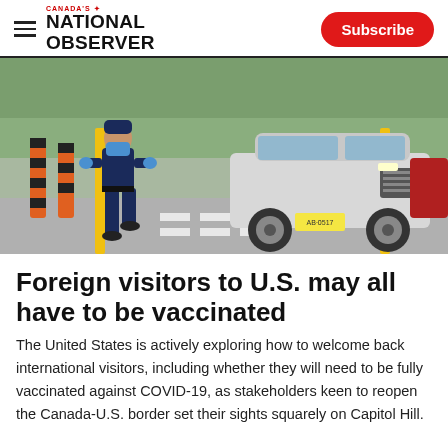Canada's National Observer — Subscribe
[Figure (photo): A border officer wearing a blue mask and gloves walks past a white SUV at a Canada-U.S. border crossing, with orange and black bollards and yellow poles visible.]
Foreign visitors to U.S. may all have to be vaccinated
The United States is actively exploring how to welcome back international visitors, including whether they will need to be fully vaccinated against COVID-19, as stakeholders keen to reopen the Canada-U.S. border set their sights squarely on Capitol Hill.